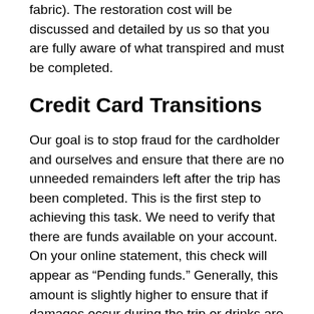fabric). The restoration cost will be discussed and detailed by us so that you are fully aware of what transpired and must be completed.
Credit Card Transitions
Our goal is to stop fraud for the cardholder and ourselves and ensure that there are no unneeded remainders left after the trip has been completed. This is the first step to achieving this task. We need to verify that there are funds available on your account. On your online statement, this check will appear as “Pending funds.” Generally, this amount is slightly higher to ensure that if damages occur during the trip or drinks are